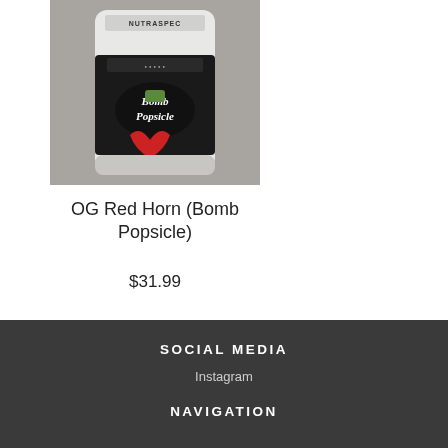[Figure (photo): Product image of NutraSpec Bomb Popsicle protein powder in a white and dark pouch with red and green design elements on a grey background]
OG Red Horn (Bomb Popsicle)
$31.99
SOCIAL MEDIA
Instagram
NAVIGATION